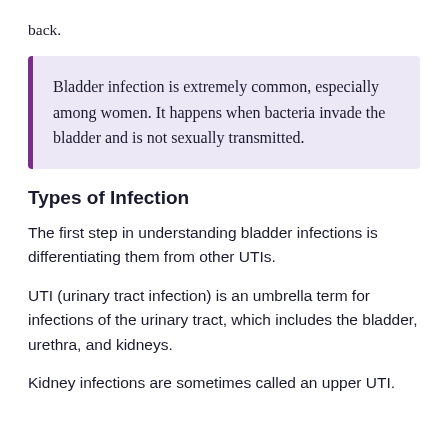back.
Bladder infection is extremely common, especially among women. It happens when bacteria invade the bladder and is not sexually transmitted.
Types of Infection
The first step in understanding bladder infections is differentiating them from other UTIs.
UTI (urinary tract infection) is an umbrella term for infections of the urinary tract, which includes the bladder, urethra, and kidneys.
Kidney infections are sometimes called an upper UTI.